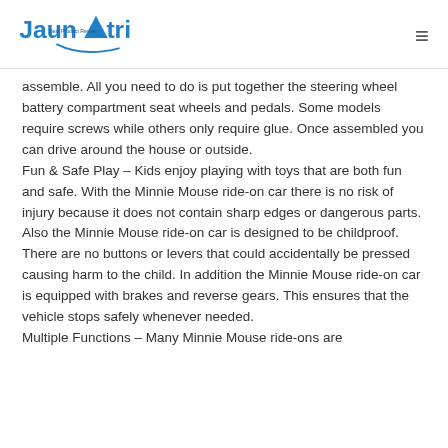Jaunatri - Best Product Review
assemble. All you need to do is put together the steering wheel battery compartment seat wheels and pedals. Some models require screws while others only require glue. Once assembled you can drive around the house or outside.
Fun & Safe Play – Kids enjoy playing with toys that are both fun and safe. With the Minnie Mouse ride-on car there is no risk of injury because it does not contain sharp edges or dangerous parts. Also the Minnie Mouse ride-on car is designed to be childproof. There are no buttons or levers that could accidentally be pressed causing harm to the child. In addition the Minnie Mouse ride-on car is equipped with brakes and reverse gears. This ensures that the vehicle stops safely whenever needed.
Multiple Functions – Many Minnie Mouse ride-ons are